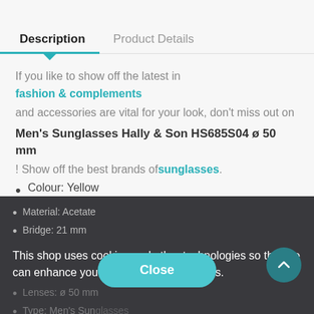Description
Product Details
If you like to show off the latest in fashion & complements and accessories are vital for your look, don't miss out on
Men's Sunglasses Hally & Son HS685S04 ø 50 mm
! Show off the best brands of sunglasses.
Colour: Yellow
Material: Acetate
Bridge: 21 mm
Lenses: ø 50 mm
Type: Men's Sun...
Protection: Protects against 100% of the UV rays (UV400)
This shop uses cookies and other technologies so that we can enhance your experience on our sites.